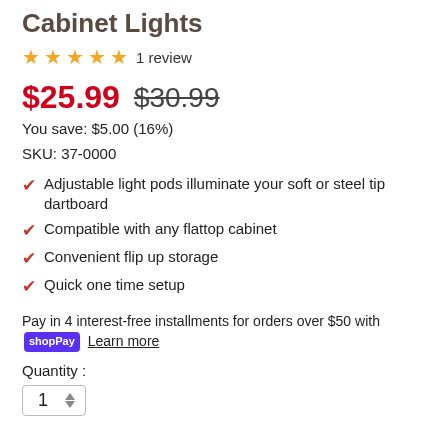Cabinet Lights
★★★★★ 1 review
$25.99  $30.99
You save: $5.00 (16%)
SKU: 37-0000
Adjustable light pods illuminate your soft or steel tip dartboard
Compatible with any flattop cabinet
Convenient flip up storage
Quick one time setup
Pay in 4 interest-free installments for orders over $50 with shopPay Learn more
Quantity :
1